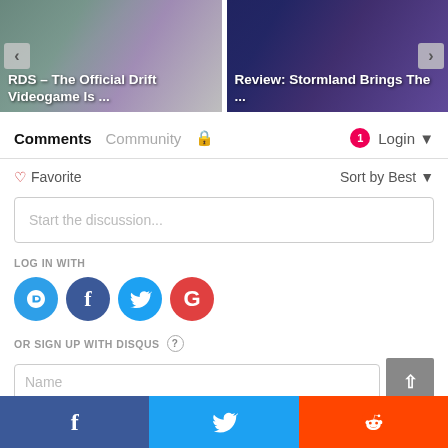[Figure (screenshot): Two article card thumbnails: left shows 'RDS – The Official Drift Videogame Is ...' with a car image, right shows 'Review: Stormland Brings The ...' with a dark gaming image. Navigation arrows visible.]
Comments  Community  🔒  1  Login ▼
♡ Favorite    Sort by Best ▼
Start the discussion...
LOG IN WITH
[Figure (logo): Four social login icons: Disqus (blue circle D), Facebook (dark blue circle f), Twitter (light blue circle bird), Google (red circle G)]
OR SIGN UP WITH DISQUS ?
Name
[Figure (infographic): Bottom social share bar with Facebook (dark blue), Twitter (light blue), Reddit (orange) buttons, and a grey scroll-to-top arrow button]